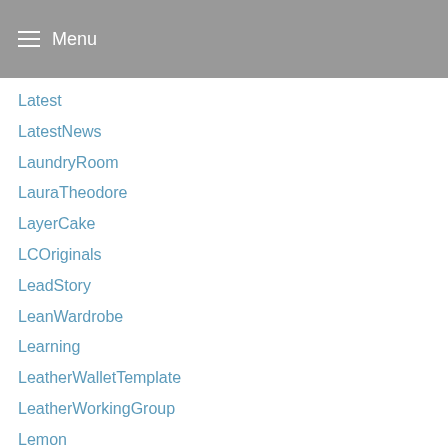Menu
Latest
LatestNews
LaundryRoom
LauraTheodore
LayerCake
LCOriginals
LeadStory
LeanWardrobe
Learning
LeatherWalletTemplate
LeatherWorkingGroup
Lemon
Life
Lifestyle
like
likeforlikes
LimitedEdition